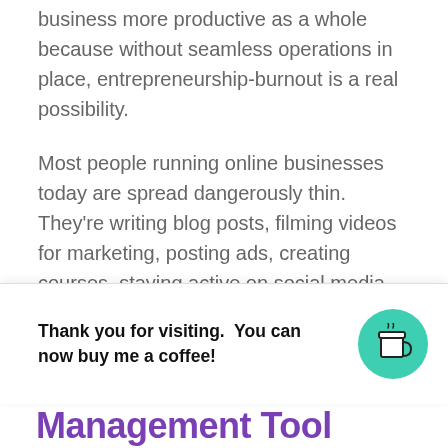business more productive as a whole because without seamless operations in place, entrepreneurship-burnout is a real possibility.
Most people running online businesses today are spread dangerously thin. They're writing blog posts, filming videos for marketing, posting ads, creating courses, staying active on social media…and that's often all outside of the core business aspects.
To keep from crashing and burning in the online business world, level-up your productivity game by automating your work and using the following t
[Figure (other): A popup banner at the bottom of the page reading 'Thank you for visiting. You can now buy me a coffee!' with a teal circular coffee cup icon button on the right.]
Management Tool